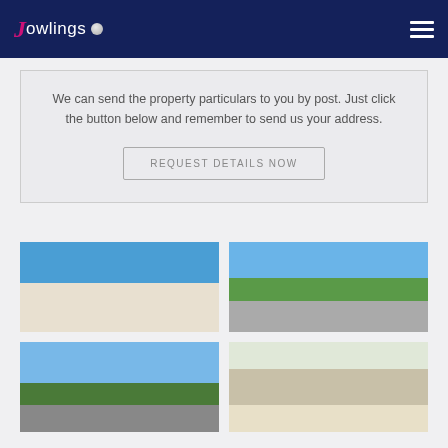Jowlings
We can send the property particulars to you by post. Just click the button below and remember to send us your address.
REQUEST DETAILS NOW
[Figure (photo): Exterior view of a white multi-storey residential building under a blue sky]
[Figure (photo): Aerial view of a road with grass verge and street lights under a blue sky]
[Figure (photo): Street level view of commercial buildings and trees under a blue sky]
[Figure (photo): Interior view of a kitchen with white units and a window]